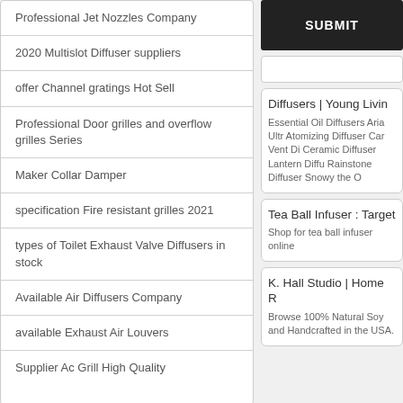Professional Jet Nozzles Company
2020 Multislot Diffuser suppliers
offer Channel gratings Hot Sell
Professional Door grilles and overflow grilles Series
Maker Collar Damper
specification Fire resistant grilles 2021
types of Toilet Exhaust Valve Diffusers in stock
Available Air Diffusers Company
available Exhaust Air Louvers
Supplier Ac Grill High Quality
SUBMIT
Diffusers | Young Livin
Essential Oil Diffusers Aria Ultr
Atomizing Diffuser Car Vent Di
Ceramic Diffuser Lantern Diffu
Rainstone Diffuser Snowy the O
Tea Ball Infuser : Target
Shop for tea ball infuser online
K. Hall Studio | Home R
Browse 100% Natural Soy and
Handcrafted in the USA.